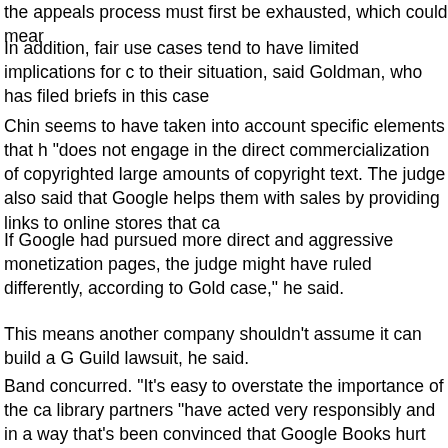the appeals process must first be exhausted, which could mear
In addition, fair use cases tend to have limited implications for c to their situation, said Goldman, who has filed briefs in this case
Chin seems to have taken into account specific elements that h "does not engage in the direct commercialization of copyrighted large amounts of copyright text. The judge also said that Google helps them with sales by providing links to online stores that ca
If Google had pursued more direct and aggressive monetization pages, the judge might have ruled differently, according to Gold case," he said.
This means another company shouldn't assume it can build a G Guild lawsuit, he said.
Band concurred. "It's easy to overstate the importance of the ca library partners "have acted very responsibly and in a way that's been convinced that Google Books hurt authors by usurping the
It's possible that as a result of the district court decision, there w of works, according to Matthew Schruers, vice president of law